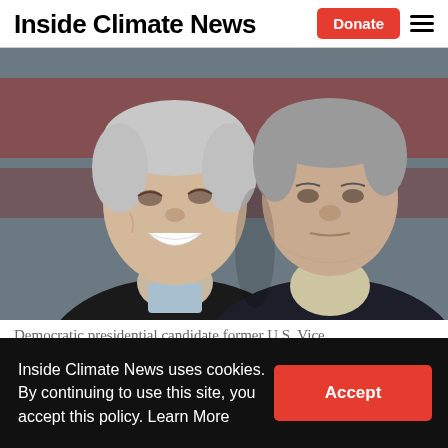Inside Climate News
[Figure (photo): Two older men close together, smiling and conversing. The man on the left has white hair and is laughing broadly, wearing a dark suit with a light blue shirt. The man on the right has gray hair and is leaning in, wearing a dark jacket over a checked shirt. A red and white blurred background is visible.]
Democratic presidential candidate former U.S. Vice
Inside Climate News uses cookies. By continuing to use this site, you accept this policy. Learn More